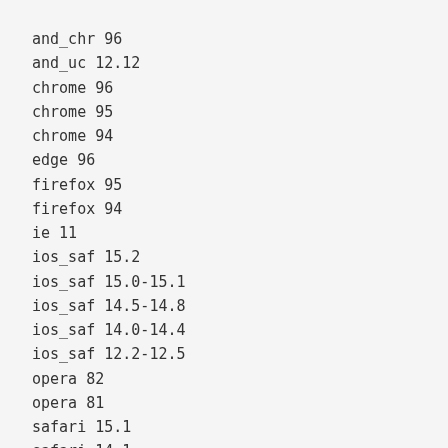and_chr 96
and_uc 12.12
chrome 96
chrome 95
chrome 94
edge 96
firefox 95
firefox 94
ie 11
ios_saf 15.2
ios_saf 15.0-15.1
ios_saf 14.5-14.8
ios_saf 14.0-14.4
ios_saf 12.2-12.5
opera 82
opera 81
safari 15.1
safari 14.1
safari 13.1